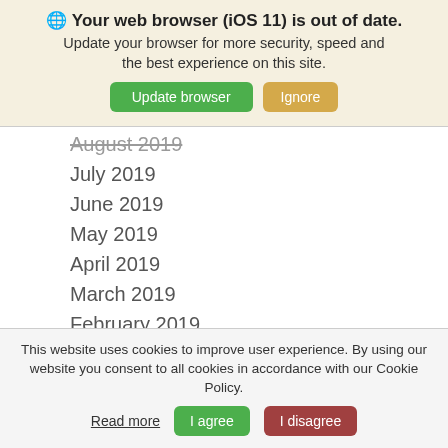[Figure (screenshot): Browser update notification banner with globe icon, bold title 'Your web browser (iOS 11) is out of date.', subtitle text, and two buttons: 'Update browser' (green) and 'Ignore' (tan/yellow)]
August 2019
July 2019
June 2019
May 2019
April 2019
March 2019
February 2019
January 2019
December 2018
November 2018
October 2018
This website uses cookies to improve user experience. By using our website you consent to all cookies in accordance with our Cookie Policy.
Read more  |  I agree  |  I disagree